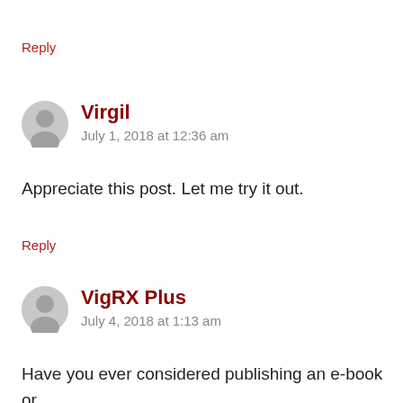Reply
Virgil
July 1, 2018 at 12:36 am
Appreciate this post. Let me try it out.
Reply
VigRX Plus
July 4, 2018 at 1:13 am
Have you ever considered publishing an e-book or